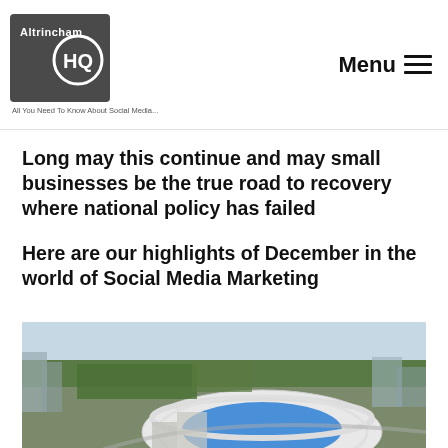Altrincham HQ — All You Need To Know About Social Media... | Menu
Long may this continue and may small businesses be the true road to recovery where national policy has failed
Here are our highlights of December in the world of Social Media Marketing
[Figure (photo): Aerial view of a football stadium (blue pitch roof) surrounded by urban landscape and trees]